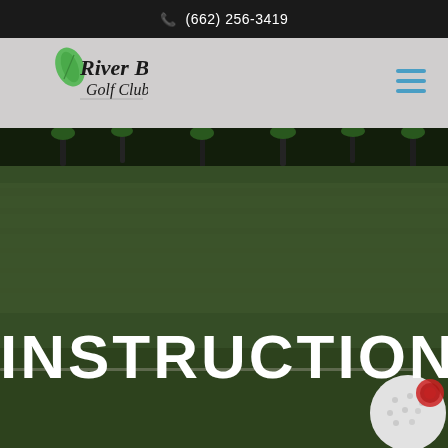(662) 256-3419
[Figure (logo): River Birch Golf Club logo with green leaf]
[Figure (illustration): Hamburger/menu icon with three teal horizontal lines]
[Figure (photo): Golf course driving range with green turf, golf clubs visible at top, golf ball at bottom right corner]
INSTRUCTION